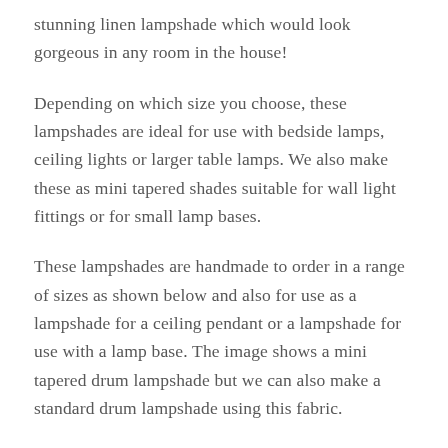stunning linen lampshade which would look gorgeous in any room in the house!
Depending on which size you choose, these lampshades are ideal for use with bedside lamps, ceiling lights or larger table lamps. We also make these as mini tapered shades suitable for wall light fittings or for small lamp bases.
These lampshades are handmade to order in a range of sizes as shown below and also for use as a lampshade for a ceiling pendant or a lampshade for use with a lamp base. The image shows a mini tapered drum lampshade but we can also make a standard drum lampshade using this fabric.